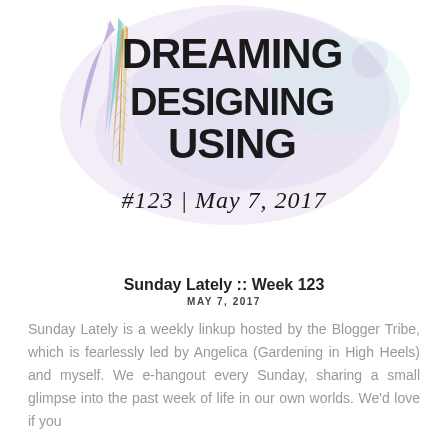[Figure (illustration): Blog logo header with decorative feather illustration (purple, teal, and gold feathers) beside watercolor splash background, with title text 'Dreaming Designing Using' in bold uppercase and '#123 | May 7, 2017' in italic script below]
Sunday Lately :: Week 123
MAY 7, 2017
Sunday Lately is a weekly linkup hosted by the Blogger Tribe, which is fearlessly led by Angelica (Gardening in High Heels) and myself. We e-hangout every Sunday, sharing a small glimpse into the past week of life in our own worlds. We'd love if you